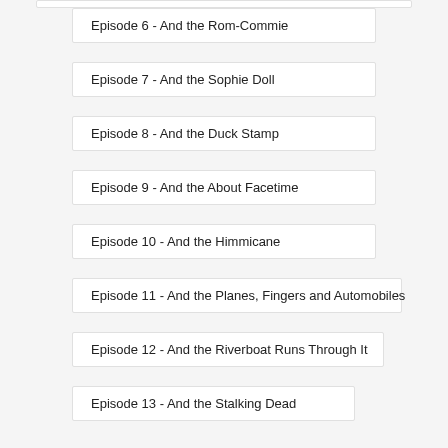Episode 6 - And the Rom-Commie
Episode 7 - And the Sophie Doll
Episode 8 - And the Duck Stamp
Episode 9 - And the About Facetime
Episode 10 - And the Himmicane
Episode 11 - And the Planes, Fingers and Automobiles
Episode 12 - And the Riverboat Runs Through It
Episode 13 - And the Stalking Dead